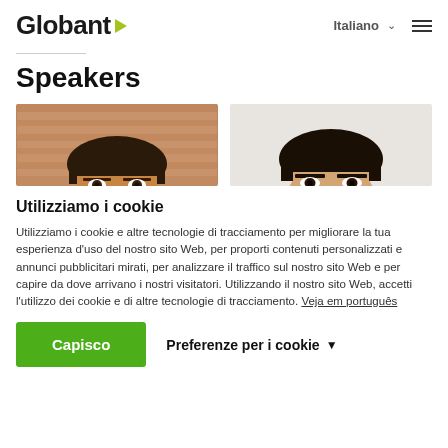Globant | Italiano
Speakers
[Figure (photo): Two speaker portrait photos, cropped at forehead level. Left photo shows a man with dark hair against a wooden background. Right photo shows a person with dark hair against a light background.]
Utilizziamo i cookie
Utilizziamo i cookie e altre tecnologie di tracciamento per migliorare la tua esperienza d'uso del nostro sito Web, per proporti contenuti personalizzati e annunci pubblicitari mirati, per analizzare il traffico sul nostro sito Web e per capire da dove arrivano i nostri visitatori. Utilizzando il nostro sito Web, accetti l'utilizzo dei cookie e di altre tecnologie di tracciamento. Veja em português
Capisco    Preferenze per i cookie